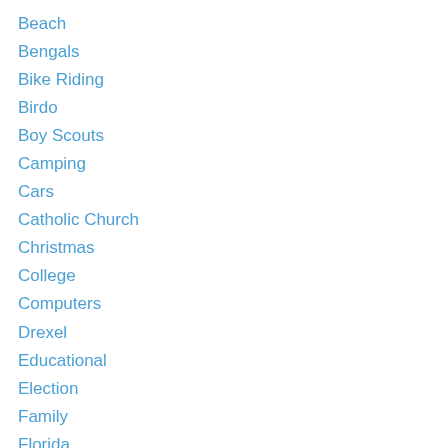Beach
Bengals
Bike Riding
Birdo
Boy Scouts
Camping
Cars
Catholic Church
Christmas
College
Computers
Drexel
Educational
Election
Family
Florida
Flying
Garden
Halloween
Junk Cars